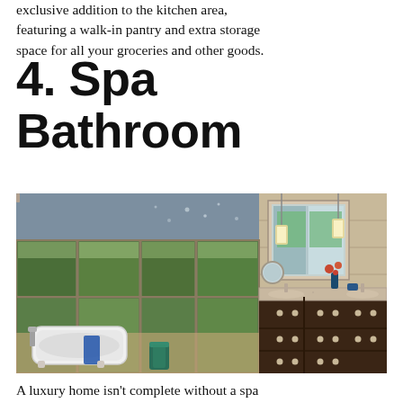exclusive addition to the kitchen area, featuring a walk-in pantry and extra storage space for all your groceries and other goods.
4. Spa Bathroom
[Figure (photo): Luxury spa bathroom with a freestanding white soaking tub, large floor-to-ceiling windows overlooking lush green trees, dark wood double vanity with granite countertop, pendant lighting, and a round mirror on the right wall.]
A luxury home isn't complete without a spa